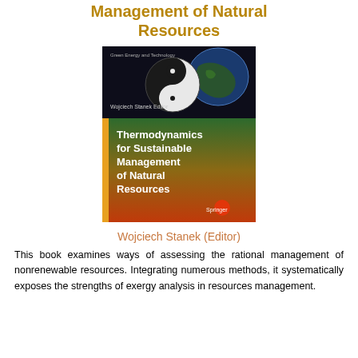Management of Natural Resources
[Figure (photo): Book cover of 'Thermodynamics for Sustainable Management of Natural Resources' edited by Wojciech Stanek, published by Springer. Cover shows a yin-yang style globe and Earth image on a dark background with green and orange gradient lower section showing the book title in white text.]
Wojciech Stanek (Editor)
This book examines ways of assessing the rational management of nonrenewable resources. Integrating numerous methods, it systematically exposes the strengths of exergy analysis in resources management.